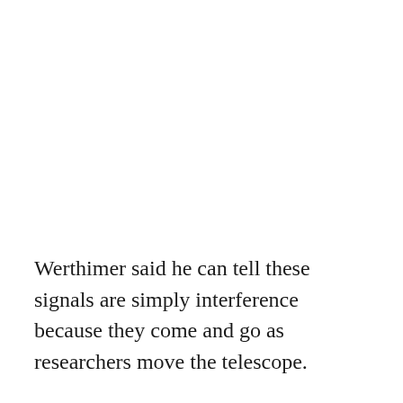Werthimer said he can tell these signals are simply interference because they come and go as researchers move the telescope.